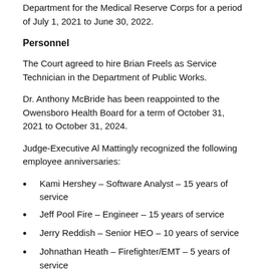Department for the Medical Reserve Corps for a period of July 1, 2021 to June 30, 2022.
Personnel
The Court agreed to hire Brian Freels as Service Technician in the Department of Public Works.
Dr. Anthony McBride has been reappointed to the Owensboro Health Board for a term of October 31, 2021 to October 31, 2024.
Judge-Executive Al Mattingly recognized the following employee anniversaries:
Kami Hershey – Software Analyst – 15 years of service
Jeff Pool Fire – Engineer – 15 years of service
Jerry Reddish – Senior HEO – 10 years of service
Johnathan Heath – Firefighter/EMT – 5 years of service
Krist Calloway – Hot Technician – 5 years of service